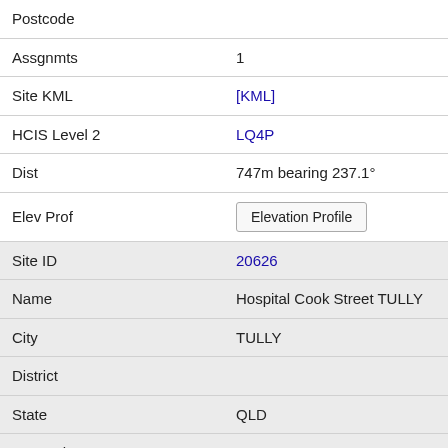| Field | Value |
| --- | --- |
| Postcode |  |
| Assgnmts | 1 |
| Site KML | [KML] |
| HCIS Level 2 | LQ4P |
| Dist | 747m bearing 237.1° |
| Elev Prof | Elevation Profile |
| Site ID | 20626 |
| Name | Hospital Cook Street TULLY |
| City | TULLY |
| District |  |
| State | QLD |
| Postcode | 4854 |
| Assgnmts | 2 |
| Site KML | [KML] |
| HCIS Level 2 | LQ4P |
| Dist | 760m bearing 338.1° |